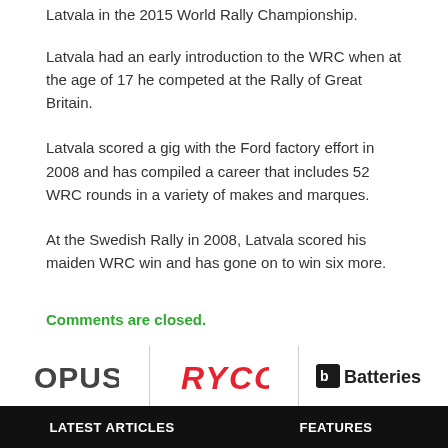Latvala had an early introduction to the WRC when at the age of 17 he competed at the Rally of Great Britain.
Latvala scored a gig with the Ford factory effort in 2008 and has compiled a career that includes 52 WRC rounds in a variety of makes and marques.
At the Swedish Rally in 2008, Latvala scored his maiden WRC win and has gone on to win six more.
Comments are closed.
[Figure (logo): Sponsor logos bar with OPUS, RYCO, and Batteries logos separated by vertical dividers]
LATEST ARTICLES    FEATURES